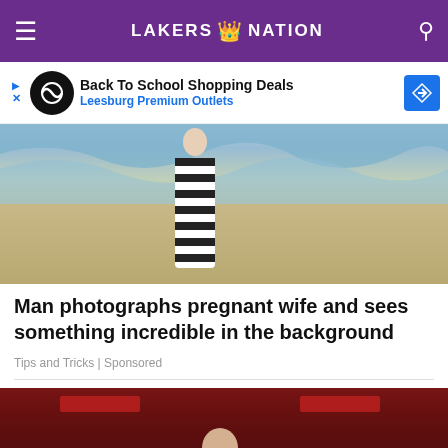LAKERS NATION
[Figure (screenshot): Advertisement banner: Back To School Shopping Deals - Leesburg Premium Outlets]
[Figure (photo): Photo of a pregnant woman in black and white striped maxi dress standing on a beach]
Man photographs pregnant wife and sees something incredible in the background
Tips and Tricks | Sponsored
[Figure (photo): Basketball game photo showing a Lakers player dribbling on the court with crowd in background]